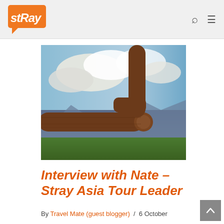Stray (logo) — navigation bar with search and menu icons
[Figure (photo): Close-up of a wooden log/branch structure in the foreground, with dramatic cloudy sky and green mountain valley in the background. High-saturation HDR-style photograph.]
Interview with Nate – Stray Asia Tour Leader
By Travel Mate (guest blogger) / 6 October